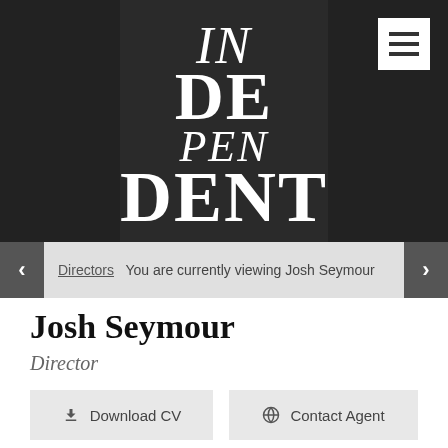[Figure (screenshot): Hero banner with dark background showing silhouetted faces, featuring the word INDEPENDENT styled in mixed serif italic and bold typefaces across four lines: IN (italic), DE (bold), PEN (italic), DENT (bold). A white hamburger menu icon appears in the top right corner.]
< Directors   You are currently viewing Josh Seymour   >
Josh Seymour
Director
Download CV
Contact Agent